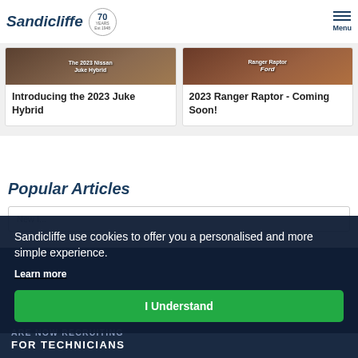Sandicliffe | 70 Years Est 1948 | Menu
[Figure (screenshot): Card image for 2023 Nissan Juke Hybrid with text overlay]
Introducing the 2023 Juke Hybrid
[Figure (screenshot): Card image for 2023 Ranger Raptor - Coming Soon! with Ford branding]
2023 Ranger Raptor - Coming Soon!
Popular Articles
New I...
Sandicliffe use cookies to offer you a personalised and more simple experience.
Learn more
I Understand
ARE NOW RECRUITING
FOR TECHNICIANS